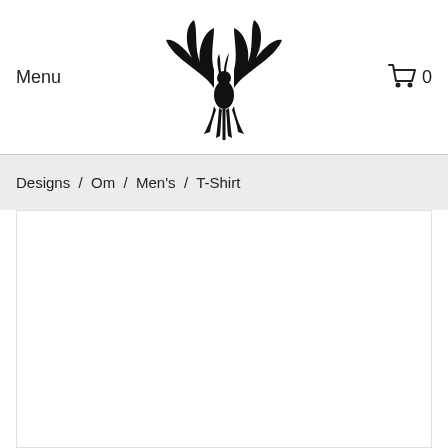Menu
[Figure (logo): Phoenix/eagle tribal logo in black, wings spread with a figure in the center]
[Figure (illustration): Shopping cart icon with the number 0]
Designs / Om / Men's / T-Shirt
[Figure (photo): Large white product image area for a T-Shirt]